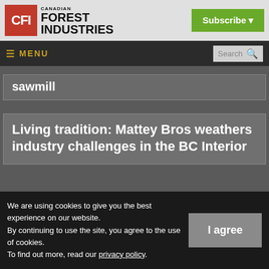Canadian Forest Industries | Subscribe
MENU | Search
sawmill
Living tradition: Mattey Bros weathers industry challenges in the BC Interior
We are using cookies to give you the best experience on our website. By continuing to use the site, you agree to the use of cookies. To find out more, read our privacy policy.